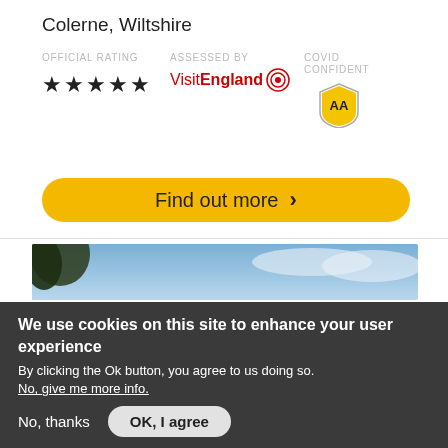Colerne, Wiltshire
OFFICIAL RATING   ASSESSED BY   COVID CONFIDENT
[Figure (other): Five black stars rating]
[Figure (logo): VisitEngland logo with red target/bullseye icon]
[Figure (logo): AA shield logo in yellow with 'AA' text]
[Figure (screenshot): Photo of sky with blue clouds and tree foliage on left]
We use cookies on this site to enhance your user experience
By clicking the Ok button, you agree to us doing so.
No, give me more info.
No, thanks
OK, I agree